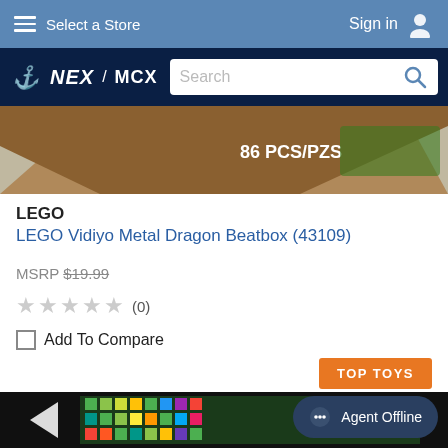Select a Store | Sign in
[Figure (logo): NEX MCX logo with anchor icon and search bar]
[Figure (photo): Partial top view of LEGO Vidiyo Metal Dragon Beatbox product box showing '86 PCS/PZS' text]
LEGO
LEGO Vidiyo Metal Dragon Beatbox (43109)
MSRP $19.99
★★★★★ (0)
Add To Compare
TOP TOYS
[Figure (photo): Partial bottom view of a LEGO product box (dark/black box with colorful design)]
Agent Offline